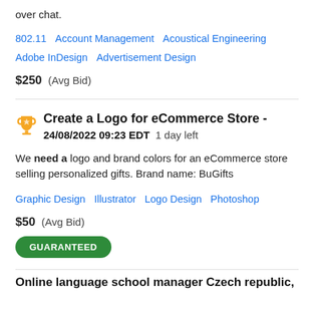over chat.
802.11   Account Management   Acoustical Engineering   Adobe InDesign   Advertisement Design
$250  (Avg Bid)
Create a Logo for eCommerce Store - 24/08/2022 09:23 EDT  1 day left
We need a logo and brand colors for an eCommerce store selling personalized gifts. Brand name: BuGifts
Graphic Design   Illustrator   Logo Design   Photoshop
$50  (Avg Bid)
GUARANTEED
Online language school manager Czech republic,